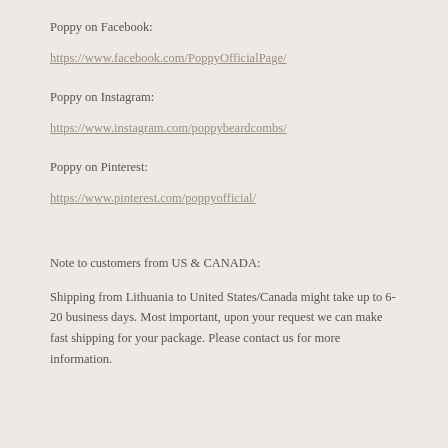Poppy on Facebook:
https://www.facebook.com/PoppyOfficialPage/
Poppy on Instagram:
https://www.instagram.com/poppybeardcombs/
Poppy on Pinterest:
https://www.pinterest.com/poppyofficial/
Note to customers from US & CANADA:
Shipping from Lithuania to United States/Canada might take up to 6-20 business days. Most important, upon your request we can make fast shipping for your package. Please contact us for more information.